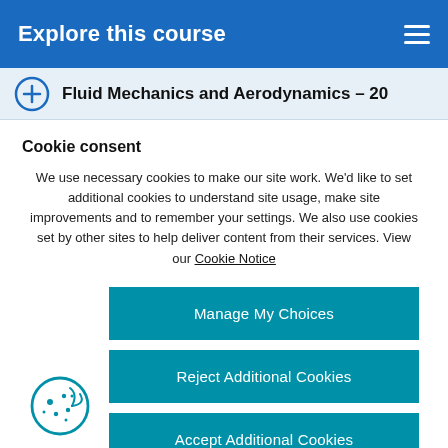Explore this course
Fluid Mechanics and Aerodynamics – 20
Cookie consent
We use necessary cookies to make our site work. We'd like to set additional cookies to understand site usage, make site improvements and to remember your settings. We also use cookies set by other sites to help deliver content from their services. View our Cookie Notice
Manage My Choices
Reject Additional Cookies
Accept Additional Cookies